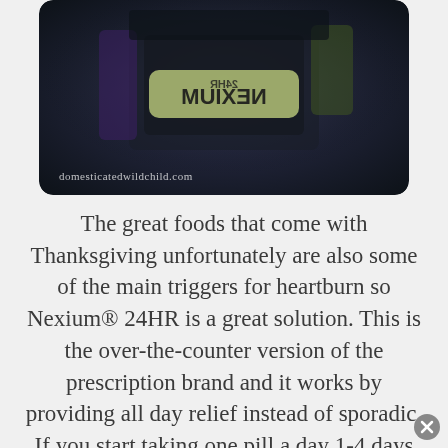[Figure (photo): A dark photograph of Nexium 24HR medication packaging, shown upside down or reflected, with the brand name visible. A watermark reads 'domesticatedwildchild.com' in the lower left corner.]
The great foods that come with Thanksgiving unfortunately are also some of the main triggers for heartburn so Nexium® 24HR is a great solution. This is the over-the-counter version of the prescription brand and it works by providing all day relief instead of sporadic. If you start taking one pill a day 1-4 days before you are set to chow down then you will find some much needed relief and no fear